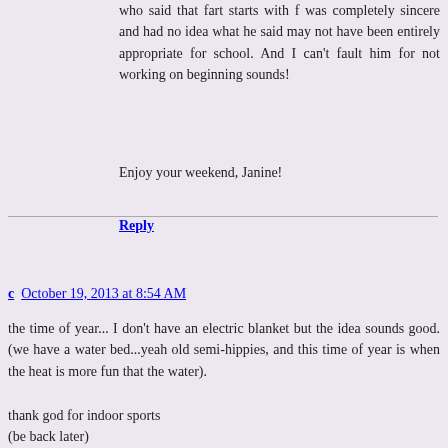who said that fart starts with f was completely sincere and had no idea what he said may not have been entirely appropriate for school. And I can't fault him for not working on beginning sounds!
Enjoy your weekend, Janine!
Reply
c  October 19, 2013 at 8:54 AM
the time of year... I don't have an electric blanket but the idea sounds good. (we have a water bed...yeah old semi-hippies, and this time of year is when the heat is more fun that the water).
thank god for indoor sports
(be back later)
Reply
▼ Replies